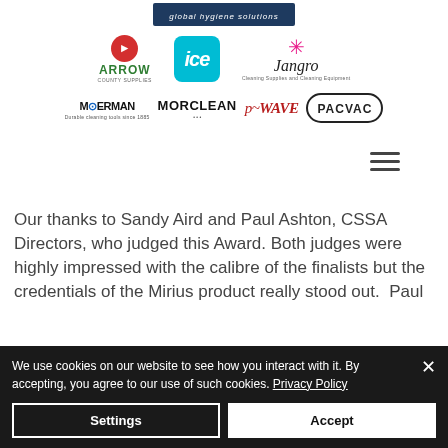[Figure (logo): Sponsor logos row 1: Arrow County Supplies, ICE (cyan square logo), Jangro cleaning supplies]
[Figure (logo): Sponsor logos row 2: Moerman, Morclean, p-Wave, Pacvac]
[Figure (other): Hamburger menu icon (three horizontal lines)]
Our thanks to Sandy Aird and Paul Ashton, CSSA Directors, who judged this Award. Both judges were highly impressed with the calibre of the finalists but the credentials of the Mirius product really stood out.  Paul
We use cookies on our website to see how you interact with it. By accepting, you agree to our use of such cookies. Privacy Policy
Settings
Accept